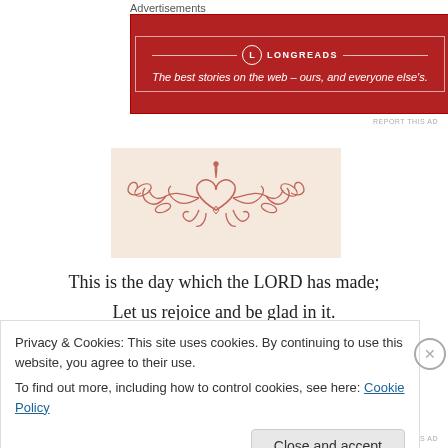Advertisements
[Figure (screenshot): Longreads advertisement banner in dark red/crimson with logo and tagline: The best stories on the web – ours, and everyone else's.]
REPORT THIS AD
[Figure (illustration): Decorative red line-art illustration of a heart shape with symmetrical floral/vine scroll motifs on a light background]
This is the day which the LORD has made; Let us rejoice and be glad in it.
Psalm 118:24
Privacy & Cookies: This site uses cookies. By continuing to use this website, you agree to their use.
To find out more, including how to control cookies, see here: Cookie Policy